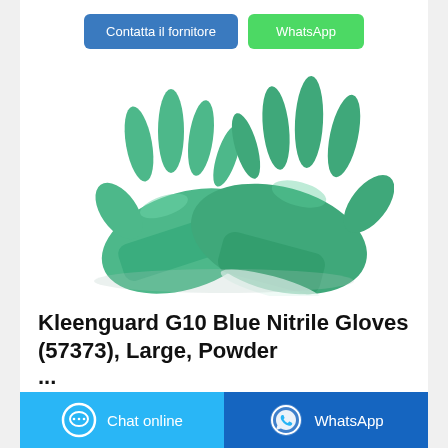[Figure (other): Two green nitrile rubber gloves (Kleenguard G10 style) displayed on a white background]
Kleenguard G10 Blue Nitrile Gloves (57373), Large, Powder ...
[Figure (other): Bottom navigation bar with Chat online button (blue) and WhatsApp button (dark blue)]